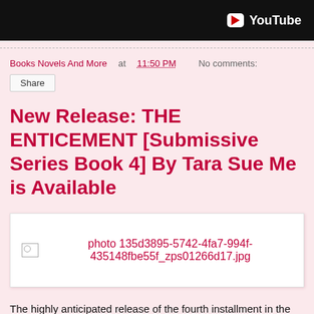[Figure (screenshot): YouTube video player bar at top, black background with YouTube logo and play button icon in white/red on right side]
Books Novels And More at 11:50 PM   No comments:
Share
New Release: THE ENTICEMENT [Submissive Series Book 4] By Tara Sue Me is Available
[Figure (photo): Broken image placeholder with filename: photo 135d3895-5742-4fa7-994f-435148fbe55f_zps01266d17.jpg]
The highly anticipated release of the fourth installment in the Submissive Series by Tara Sue Me titled, The Enticement released